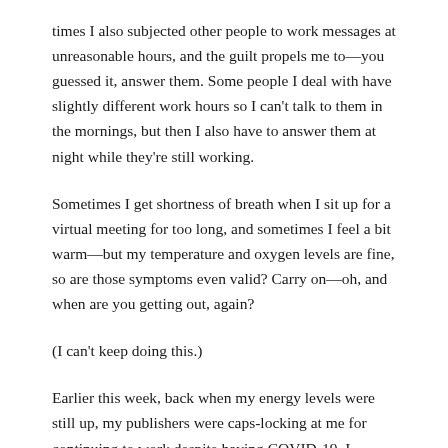times I also subjected other people to work messages at unreasonable hours, and the guilt propels me to—you guessed it, answer them. Some people I deal with have slightly different work hours so I can't talk to them in the mornings, but then I also have to answer them at night while they're still working.
Sometimes I get shortness of breath when I sit up for a virtual meeting for too long, and sometimes I feel a bit warm—but my temperature and oxygen levels are fine, so are those symptoms even valid? Carry on—oh, and when are you getting out, again?
(I can't keep doing this.)
Earlier this week, back when my energy levels were still up, my publishers were caps-locking at me for continuing to work despite having COVID-19. I assured